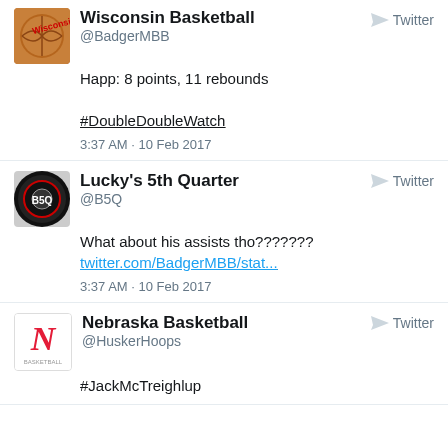[Figure (screenshot): Tweet from Wisconsin Basketball (@BadgerMBB): Happ: 8 points, 11 rebounds #DoubleDoubleWatch. 3:37 AM - 10 Feb 2017]
[Figure (screenshot): Tweet from Lucky's 5th Quarter (@B5Q): What about his assists tho??????? twitter.com/BadgerMBB/stat... 3:37 AM - 10 Feb 2017]
[Figure (screenshot): Tweet from Nebraska Basketball (@HuskerHoops): #JackMcTreighlup]